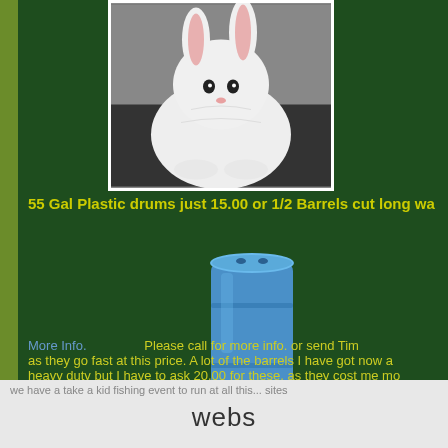[Figure (photo): White rabbit/bunny sitting, photo with white border on dark green background]
55 Gal Plastic drums just 15.00 or 1/2 Barrels cut long wa
[Figure (photo): Blue 55-gallon plastic drum/barrel]
More Info.   Please call for more info. or send Tim as they go fast at this price. A lot of the barrels I have got now a heavy duty but I have to ask 20.00 for these, as they cost me mo
we have a take a kid fishing event to run at all this... sites
webs